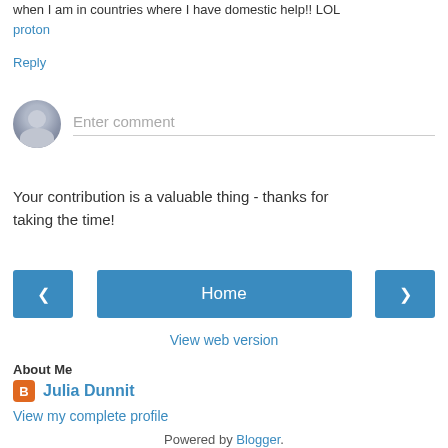when I am in countries where I have domestic help!! LOL
proton
Reply
[Figure (other): Comment input area with user avatar icon and 'Enter comment' placeholder text]
Your contribution is a valuable thing - thanks for taking the time!
[Figure (infographic): Navigation buttons: left arrow, Home, right arrow]
View web version
About Me
Julia Dunnit
View my complete profile
Powered by Blogger.